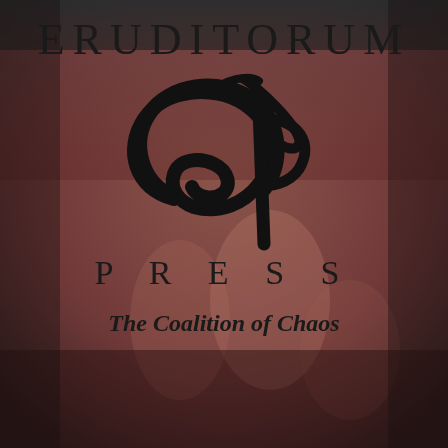[Figure (logo): Eruditorum Press logo cover page with a painted classical mythological background (muted reddish-brown tones, figures in a landscape), overlaid with the Eruditorum Press EP monogram logo in black, the word ERUDITORUM at the top, PRESS below the logo, and 'The Coalition of Chaos' in bold italic below.]
ERUDITORUM
[Figure (logo): EP monogram logo in black — a stylized cursive 'E' circle combined with a 'P' with an elongated pen/feather stroke above it]
P R E S S
The Coalition of Chaos